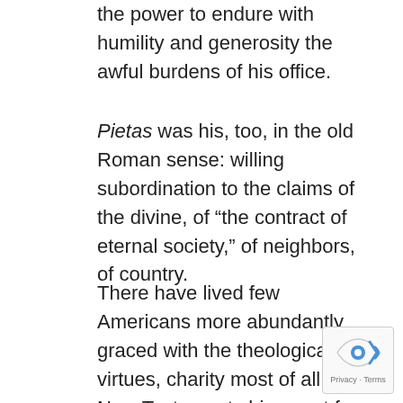the power to endure with humility and generosity the awful burdens of his office.
Pietas was his, too, in the old Roman sense: willing subordination to the claims of the divine, of “the contract of eternal society,” of neighbors, of country.
There have lived few Americans more abundantly graced with the theological virtues, charity most of all. The New Testament shines out from his acts of mercy, and the Old from his direction of the war. We all know the deep piety of his Gettysburg Address; and in some of his letters there looms a stern justice, at once Christian and classical.